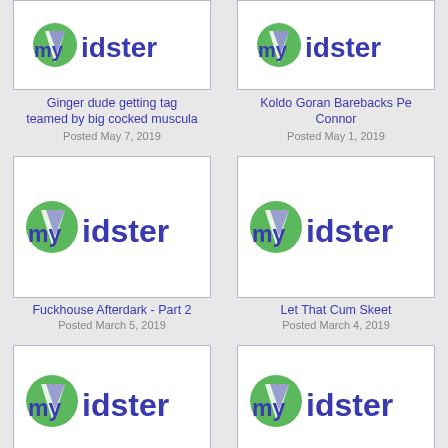[Figure (screenshot): myVidster logo placeholder thumbnail (top left, partially cropped)]
[Figure (screenshot): myVidster logo placeholder thumbnail (top right, partially cropped)]
Ginger dude getting tag teamed by big cocked muscula
Posted May 7, 2019
Koldo Goran Barebacks Pe Connor
Posted May 1, 2019
[Figure (screenshot): myVidster logo placeholder thumbnail (middle left)]
[Figure (screenshot): myVidster logo placeholder thumbnail (middle right)]
Fuckhouse Afterdark - Part 2
Posted March 5, 2019
Let That Cum Skeet
Posted March 4, 2019
[Figure (screenshot): myVidster logo placeholder thumbnail (bottom left, partially cropped)]
[Figure (screenshot): myVidster logo placeholder thumbnail (bottom right, partially cropped)]